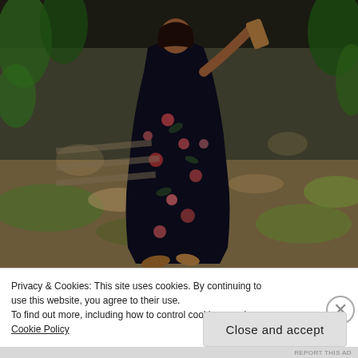[Figure (photo): A person wearing a dark floral dress (navy/black with red and pink flowers) walking through a wooded outdoor area with green ferns and dappled sunlight, viewed from behind. They are holding something in their raised right hand.]
Privacy & Cookies: This site uses cookies. By continuing to use this website, you agree to their use.
To find out more, including how to control cookies, see here: Cookie Policy
Close and accept